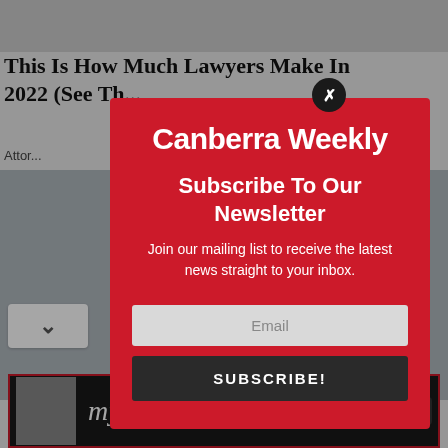[Figure (screenshot): Background article page showing a photo of two women at top, article title 'This Is How Much Lawyers Make In 2022 (See Th...' partially visible, byline starting with 'Attor...' and photo strips below]
[Figure (infographic): Canberra Weekly newsletter subscription modal overlay with red background, logo, subscribe heading, description text, email input field, and subscribe button]
Canberra Weekly
Subscribe To Our Newsletter
Join our mailing list to receive the latest news straight to your inbox.
[Figure (screenshot): Advertisement banner for 'My Fair Lady' show at bottom of page, dark background with show logo text and dates '30 Aug – 25 Sep', website 'www.theq.net.au', phone '6285 6190', and TQ quality logo]